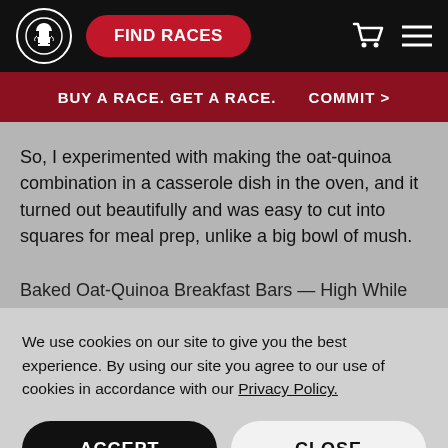FIND RACES
BUY A RACE. GET A RACE.   COMMIT >
So, I experimented with making the oat-quinoa combination in a casserole dish in the oven, and it turned out beautifully and was easy to cut into squares for meal prep, unlike a big bowl of mush.
We use cookies on our site to give you the best experience. By using our site you agree to our use of cookies in accordance with our Privacy Policy.
ACCEPT
CLOSE